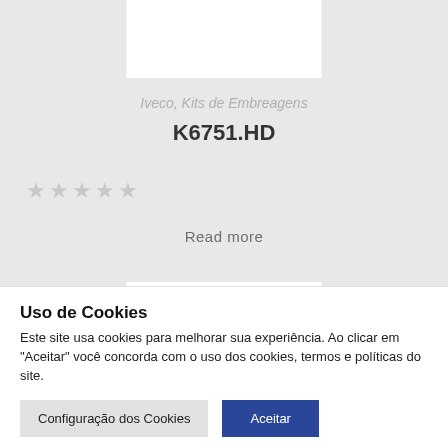[Figure (photo): White product image box on grey background]
Iveco, Kits de Embreagens
K6751.HD
[Figure (other): Five empty star rating icons]
Read more
Uso de Cookies
Este site usa cookies para melhorar sua experiência. Ao clicar em "Aceitar" você concorda com o uso dos cookies, termos e políticas do site.
Configuração dos Cookies  Aceitar